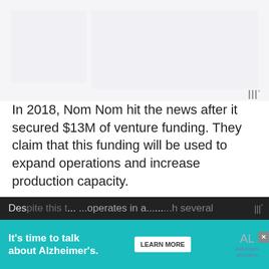[Figure (screenshot): Top image placeholder area with light gray background boxes, representing an embedded image or video region. A watermark/logo mark appears at bottom right: three vertical bars with a degree symbol.]
In 2018, Nom Nom hit the news after it secured $13M of venture funding. They claim that this funding will be used to expand operations and increase production capacity.
This media attention included them being featured in articles by TechCrunch, Business Insider, and GlobalNewswire.
Despite this attention, we note that Nom Nom operates in a... ...h several